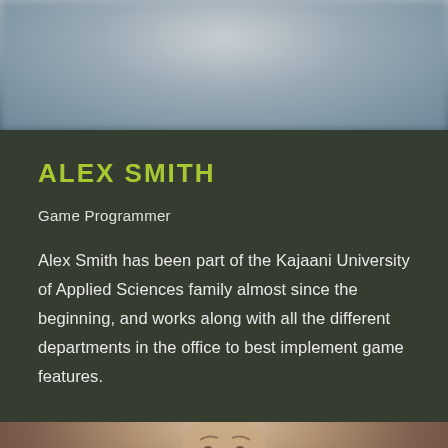[Figure (photo): Blurred photo of a person at the top of the page, dark background]
ALEX SMITH
Game Programmer
Alex Smith has been part of the Kajaani University of Applied Sciences family almost since the beginning, and works along with all the different departments in the office to best implement game features.
[Figure (photo): Photo of a man's face, partially visible at the bottom of the page]